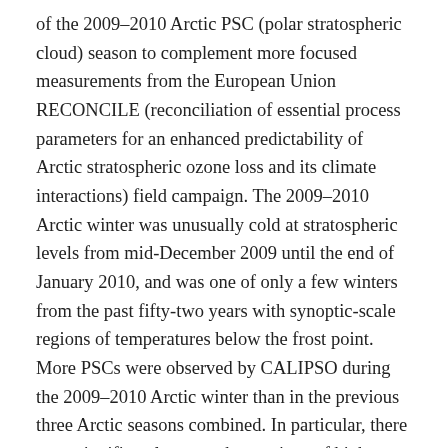of the 2009–2010 Arctic PSC (polar stratospheric cloud) season to complement more focused measurements from the European Union RECONCILE (reconciliation of essential process parameters for an enhanced predictability of Arctic stratospheric ozone loss and its climate interactions) field campaign. The 2009–2010 Arctic winter was unusually cold at stratospheric levels from mid-December 2009 until the end of January 2010, and was one of only a few winters from the past fifty-two years with synoptic-scale regions of temperatures below the frost point. More PSCs were observed by CALIPSO during the 2009–2010 Arctic winter than in the previous three Arctic seasons combined. In particular, there were significantly more observations of high number density NAT (nitric acid trihydrate) mixtures (referred to as Mix 2-enh) and ice PSCs. We found that the 2009–2010 season could roughly be divided into four periods with distinctly different PSC optical characteristics. The early season (15–30 December 2009) was characterized